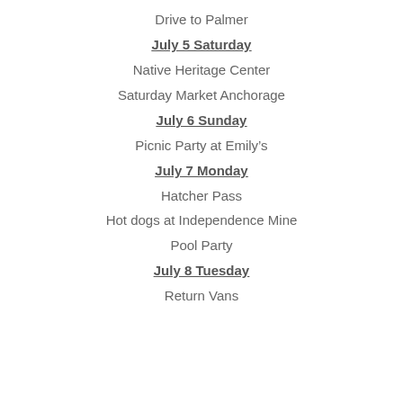Drive to Palmer
July 5 Saturday
Native Heritage Center
Saturday Market Anchorage
July 6 Sunday
Picnic Party at Emily's
July 7 Monday
Hatcher Pass
Hot dogs at Independence Mine
Pool Party
July 8 Tuesday
Return Vans